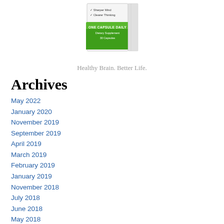[Figure (photo): Supplement product box with green label showing ONE CAPSULE DAILY, Dietary Supplement, 30 Capsules, with checkmarks for Sharper Mind and Clearer Thinking]
Healthy Brain. Better Life.
Archives
May 2022
January 2020
November 2019
September 2019
April 2019
March 2019
February 2019
January 2019
November 2018
July 2018
June 2018
May 2018
April 2018
March 2018